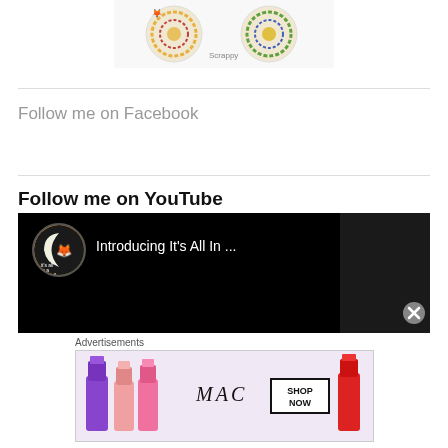[Figure (photo): Decorative circular craft/cookie items with colorful patterns, label reads 'Scrappy']
Follow me on Facebook
Follow me on YouTube
[Figure (screenshot): YouTube video player showing 'Introducing It's All In ...' with channel avatar and three-dot menu]
Advertisements
[Figure (photo): MAC Cosmetics advertisement showing lipsticks in purple, pink, and red colors with MAC logo and SHOP NOW box]